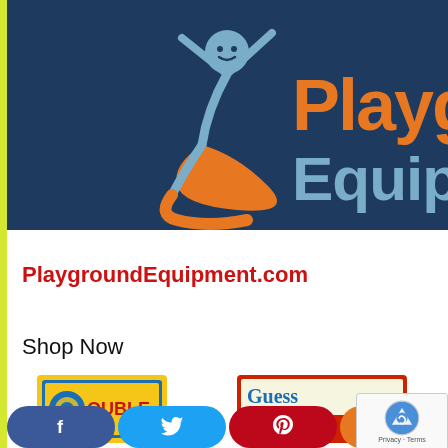[Figure (logo): PlaygroundEquipment.com logo on dark navy background. Features a blue stick figure child with arms raised, and orange swirl/slide design. Text 'Playgr' and 'Equipm' visible in orange and light blue on right side.]
PlaygroundEquipment.com
Shop Now
[Figure (photo): Two board game boxes partially visible at bottom. Left: a game with yellow and blue circular pattern. Right: Guess Who board game box.]
[Figure (screenshot): Social media sharing buttons: Facebook (dark blue), Twitter (light blue), Pinterest (red), and an orange button, displayed as pill-shaped buttons at the bottom.]
[Figure (other): reCAPTCHA widget showing the reCAPTCHA logo and 'Privacy - Terms' text in bottom right corner.]